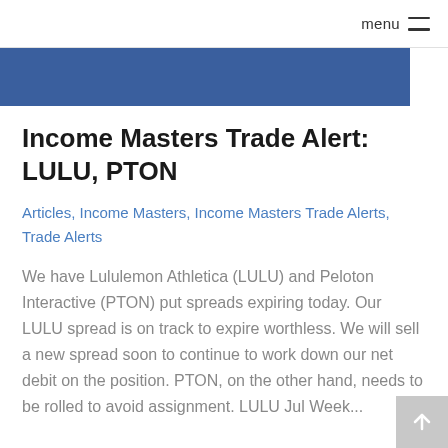menu ≡
[Figure (other): Blue horizontal banner bar]
Income Masters Trade Alert: LULU, PTON
Articles, Income Masters, Income Masters Trade Alerts, Trade Alerts
We have Lululemon Athletica (LULU) and Peloton Interactive (PTON) put spreads expiring today. Our LULU spread is on track to expire worthless. We will sell a new spread soon to continue to work down our net debit on the position. PTON, on the other hand, needs to be rolled to avoid assignment. LULU Jul Week...